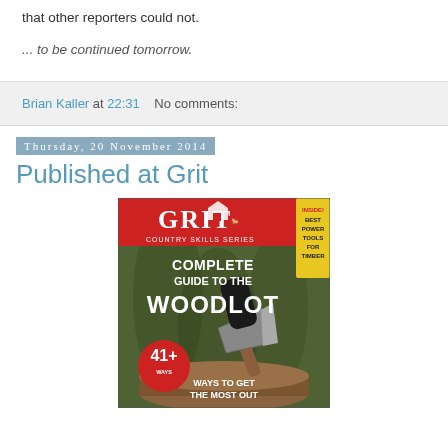that other reporters could not.
... to be continued tomorrow.
Brian Kaller at 22:31   No comments:
Thursday, 20 November 2014
Published at Grit
[Figure (photo): Magazine cover of Grit Country Skills Series: Complete Guide to the Woodlot. Shows a person chopping wood with an axe. Text reads: INSIDE! BEST POWER TOOLS FOR TIMBER. 41+ WAYS TO GET THE MOST OUT OF YOUR WOODS.]